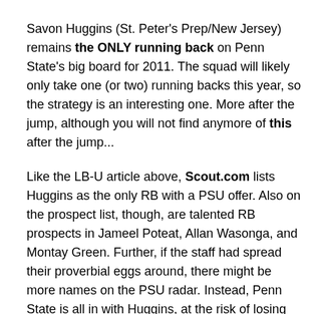Savon Huggins (St. Peter's Prep/New Jersey) remains the ONLY running back on Penn State's big board for 2011. The squad will likely only take one (or two) running backs this year, so the strategy is an interesting one. More after the jump, although you will not find anymore of this after the jump...
Like the LB-U article above, Scout.com lists Huggins as the only RB with a PSU offer. Also on the prospect list, though, are talented RB prospects in Jameel Poteat, Allan Wasonga, and Montay Green. Further, if the staff had spread their proverbial eggs around, there might be more names on the PSU radar. Instead, Penn State is all in with Huggins, at the risk of losing out on in-state backs like Poteat. This scenario plays out one of three ways: